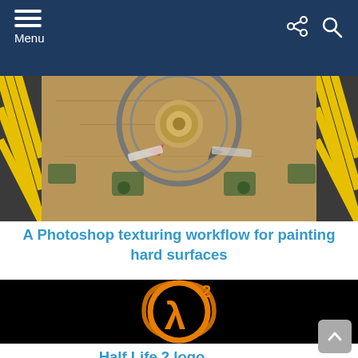Menu
[Figure (photo): Top-down view of a textured industrial hard surface with circular metallic element, yellow-black hazard stripes, arrows, and worn sandy floor - Photoshop texturing workflow example]
A Photoshop texturing workflow for painting hard surfaces
[Figure (logo): Half-Life 2 logo on black background: orange lambda symbol inside orange circle with superscript 2]
Half Life 2 logo